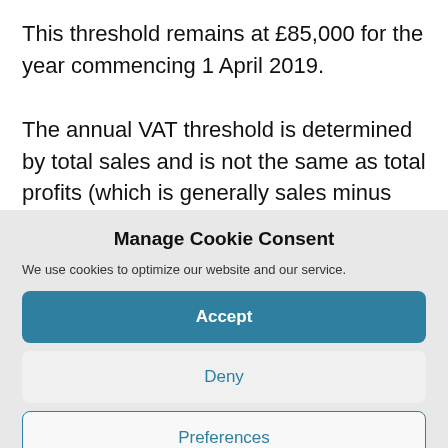This threshold remains at £85,000 for the year commencing 1 April 2019.
The annual VAT threshold is determined by total sales and is not the same as total profits (which is generally sales minus expenses). A business can make a loss and
Manage Cookie Consent
We use cookies to optimize our website and our service.
Accept
Deny
Preferences